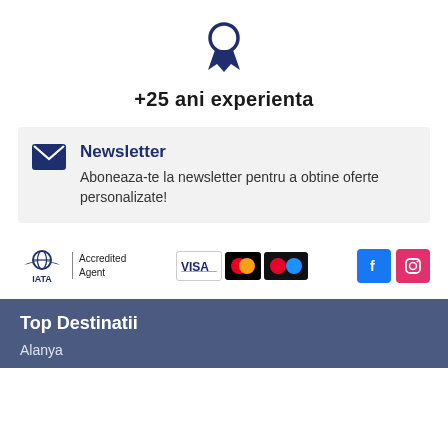[Figure (illustration): Dark blue award/medal ribbon icon]
+25 ani experienta
Newsletter
Aboneaza-te la newsletter pentru a obtine oferte personalizate!
[Figure (logo): IATA Accredited Agent logo, VISA card logo, Mastercard logo, OnlineBit logo, Facebook icon, Instagram icon]
Top Destinatii
Alanya